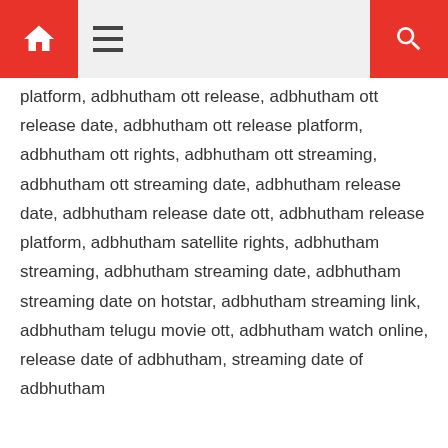Home | Menu | Search
platform, adbhutham ott release, adbhutham ott release date, adbhutham ott release platform, adbhutham ott rights, adbhutham ott streaming, adbhutham ott streaming date, adbhutham release date, adbhutham release date ott, adbhutham release platform, adbhutham satellite rights, adbhutham streaming, adbhutham streaming date, adbhutham streaming date on hotstar, adbhutham streaming link, adbhutham telugu movie ott, adbhutham watch online, release date of adbhutham, streaming date of adbhutham
◄ List Of All...
Sardar Ud...
SEARCH ANY MOVIE HERE TO KNOW WHERE IT IS STREAMING.
Search ...
Search
Amazon Prime Video Movies